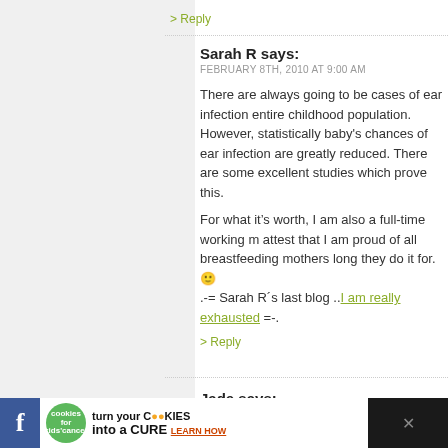> Reply
Sarah R says:
FEBRUARY 8TH, 2010 AT 9:00 AM
There are always going to be cases of ear infection entire childhood population. However, statistically baby's chances of ear infection are greatly reduced. There are some excellent studies which prove this.
For what it's worth, I am also a full-time working m attest that I am proud of all breastfeeding mothers long they do it for. 🙂
.-= Sarah R's last blog ..I am really exhausted =-.
> Reply
Jade says:
FEBRUARY 8TH, 2010 AT 10:08 AM
I have three children all vaccinated. My two older chi
[Figure (infographic): Advertisement banner for 'cookies for kids cancer' - turn your cookies into a CURE, LEARN HOW]